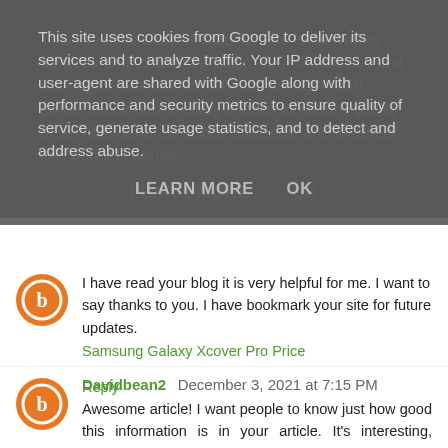This site uses cookies from Google to deliver its services and to analyze traffic. Your IP address and user-agent are shared with Google along with performance and security metrics to ensure quality of service, generate usage statistics, and to detect and address abuse.
LEARN MORE    OK
I have read your blog it is very helpful for me. I want to say thanks to you. I have bookmark your site for future updates.
Samsung Galaxy Xcover Pro Price
Reply
Davidbean2  December 3, 2021 at 7:15 PM
Awesome article! I want people to know just how good this information is in your article. It's interesting, compelling content. Your views are much like my own concerning this subject.
how to start a podcast
Reply